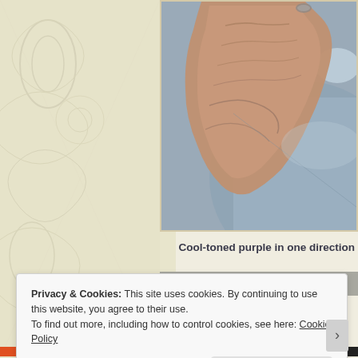[Figure (photo): Close-up photo of a human hand palm showing skin texture against a blue-grey fabric background, demonstrating cool-toned purple nail polish or skin tone effect]
Cool-toned purple in one direction
[Figure (photo): Partial second photo showing similar hand/fabric scene]
Privacy & Cookies: This site uses cookies. By continuing to use this website, you agree to their use.
To find out more, including how to control cookies, see here: Cookie Policy